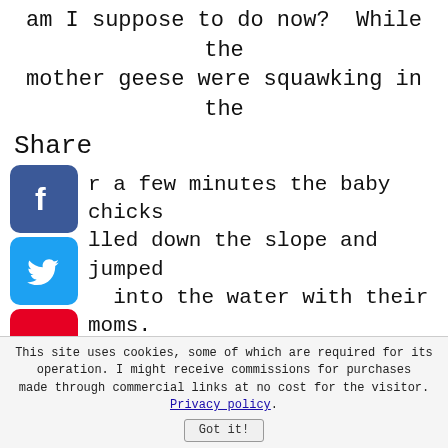am I suppose to do now?  While the mother geese were squawking in the
Share
[Figure (illustration): Social media share icons: Facebook (blue), Twitter (blue), Pinterest (red), Tumblr (dark blue), Reddit (orange), WhatsApp (green)]
r a few minutes the baby chicks lled down the slope and jumped into the water with their moms. other time a flock of geese on a ge were grouped together when ber went running after them, all geese jumped up and flew off into
This site uses cookies, some of which are required for its operation. I might receive commissions for purchases made through commercial links at no cost for the visitor. Privacy policy. Got it!